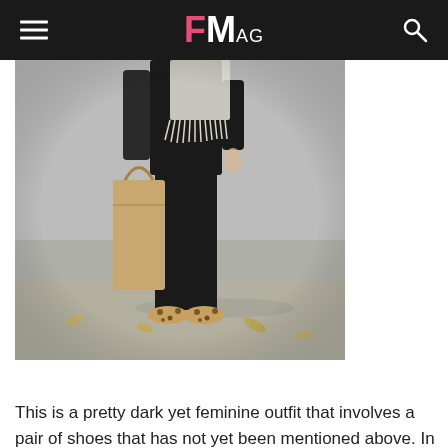FMag
[Figure (photo): Lower body of a person standing against a gray wall, wearing black slim pants, a fringed white top, leopard print flat shoes, and carrying a tan tote bag.]
source
This is a pretty dark yet feminine outfit that involves a pair of shoes that has not yet been mentioned above. In detail, to achieve this special look, you can wear a black sweater with a